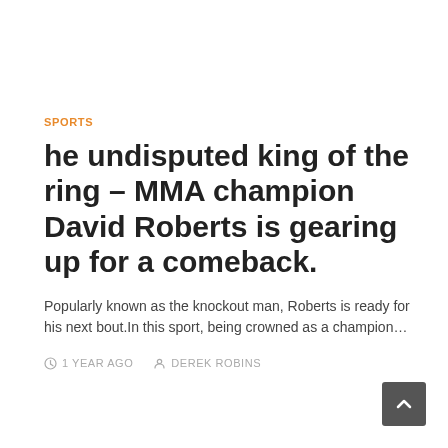SPORTS
he undisputed king of the ring – MMA champion David Roberts is gearing up for a comeback.
Popularly known as the knockout man, Roberts is ready for his next bout.In this sport, being crowned as a champion…
1 YEAR AGO   DEREK ROBINS